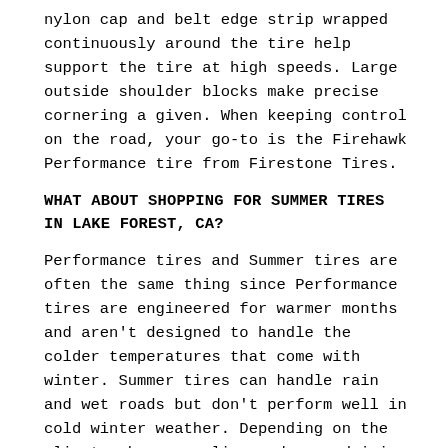nylon cap and belt edge strip wrapped continuously around the tire help support the tire at high speeds. Large outside shoulder blocks make precise cornering a given. When keeping control on the road, your go-to is the Firehawk Performance tire from Firestone Tires.
WHAT ABOUT SHOPPING FOR SUMMER TIRES IN LAKE FOREST, CA?
Performance tires and Summer tires are often the same thing since Performance tires are engineered for warmer months and aren't designed to handle the colder temperatures that come with winter. Summer tires can handle rain and wet roads but don't perform well in cold winter weather. Depending on the climate where you live and your driving habits, you might be able to leave your Performance tires equipped all year long and get the driving experience you want from January through December. Check your owner's manual and nearest Lake Forest Firestone performance tire dealer.